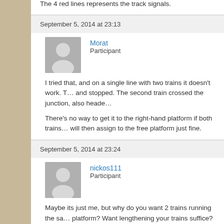The 4 red lines represents the track signals.
September 5, 2014 at 23:13
Morat
Participant
I tried that, and on a single line with two trains it doesn't work. T... and stopped. The second train crossed the junction, also heade...
There's no way to get it to the right-hand platform if both trains... will then assign to the free platform just fine.
September 5, 2014 at 23:24
nickos111
Participant
Maybe its just me, but why do you want 2 trains running the sa... platform? Want lengthening your trains suffice?